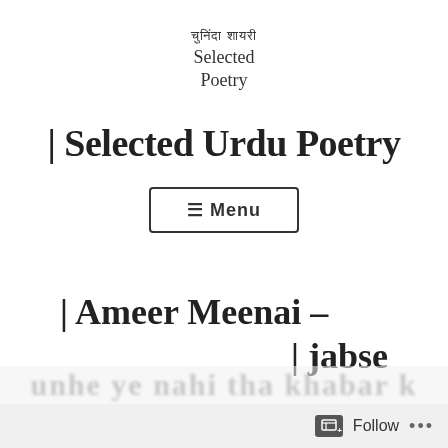चुनिंदा शायरी
Selected
Poetry
| Selected Urdu Poetry
☰ Menu
| Ameer Meenai –
| jabse
Follow ...